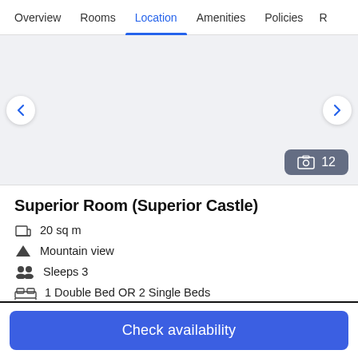Overview  Rooms  Location  Amenities  Policies  R
[Figure (photo): Hotel room photo area with left/right navigation arrows and a photo count badge showing 12]
Superior Room (Superior Castle)
20 sq m
Mountain view
Sleeps 3
1 Double Bed OR 2 Single Beds
More details >
Check availability